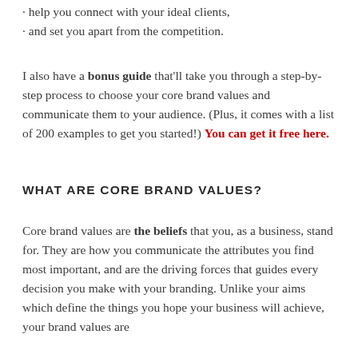· help you connect with your ideal clients,
· and set you apart from the competition.
I also have a bonus guide that'll take you through a step-by-step process to choose your core brand values and communicate them to your audience. (Plus, it comes with a list of 200 examples to get you started!) You can get it free here.
WHAT ARE CORE BRAND VALUES?
Core brand values are the beliefs that you, as a business, stand for. They are how you communicate the attributes you find most important, and are the driving forces that guides every decision you make with your branding. Unlike your aims which define the things you hope your business will achieve, your brand values are